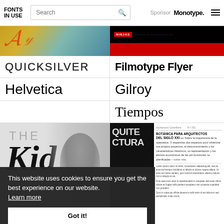FONTS IN USE — Search bar — Sponsor: Monotype. — Menu
[Figure (screenshot): Two thumbnail images: left shows colorful graphic with decorative lettering; right shows black and red design with NINJAS text]
QUICKSILVER
Filmotype Flyer
Helvetica
Gilroy
Tiempos
[Figure (screenshot): Two thumbnail images: left shows black and white photo with gothic 'The Kid' typography; right shows dark editorial spread with ARQUITECTURA heading and article text]
This website uses cookies to ensure you get the best experience on our website. Learn more
Got it!